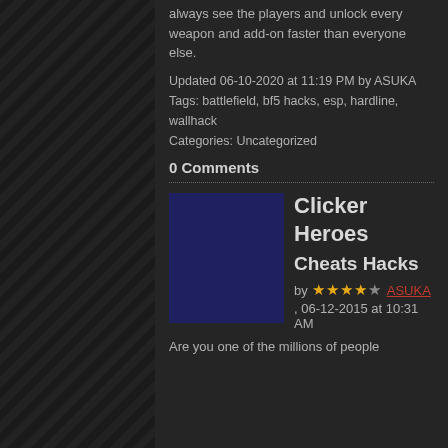always see the players and unlock every weapon and add-on faster than everyone else.
Updated 06-10-2020 at 11:19 PM by ASUKA
Tags: battlefield, bf5 hacks, esp, hardline, wallhack
Categories: Uncategorized
0 Comments
Clicker Heroes Cheats Hacks
by ★★★★☆ ASUKA, 06-12-2015 at 10:31 AM
Are you one of the millions of people